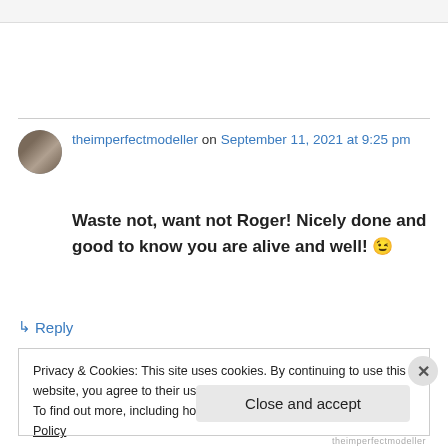theimperfectmodeller on September 11, 2021 at 9:25 pm
Waste not, want not Roger! Nicely done and good to know you are alive and well! 😉
↳ Reply
Privacy & Cookies: This site uses cookies. By continuing to use this website, you agree to their use.
To find out more, including how to control cookies, see here: Cookie Policy
Close and accept